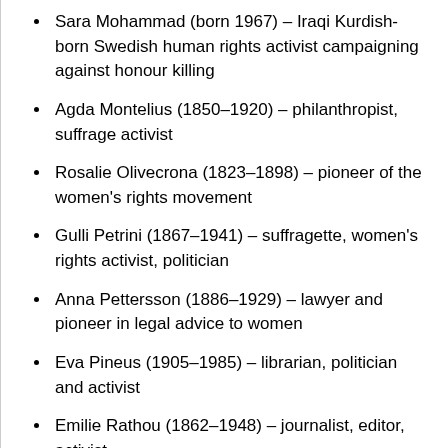Sara Mohammad (born 1967) – Iraqi Kurdish-born Swedish human rights activist campaigning against honour killing
Agda Montelius (1850–1920) – philanthropist, suffrage activist
Rosalie Olivecrona (1823–1898) – pioneer of the women's rights movement
Gulli Petrini (1867–1941) – suffragette, women's rights activist, politician
Anna Pettersson (1886–1929) – lawyer and pioneer in legal advice to women
Eva Pineus (1905–1985) – librarian, politician and activist
Emilie Rathou (1862–1948) – journalist, editor, activist
Hilda Sachs (1857–1935) – journalist, writer and